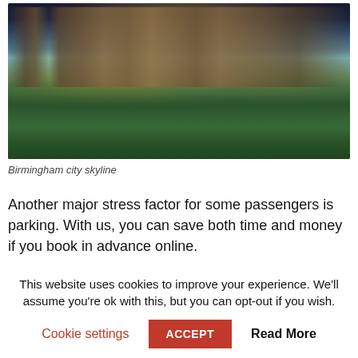[Figure (photo): Aerial photograph of Birmingham city skyline at dusk/night, showing illuminated skyscrapers and buildings in the background with green tree canopy in the foreground.]
Birmingham city skyline
Another major stress factor for some passengers is parking. With us, you can save both time and money if you book in advance online.
This website uses cookies to improve your experience. We'll assume you're ok with this, but you can opt-out if you wish.
Cookie settings   ACCEPT   Read More